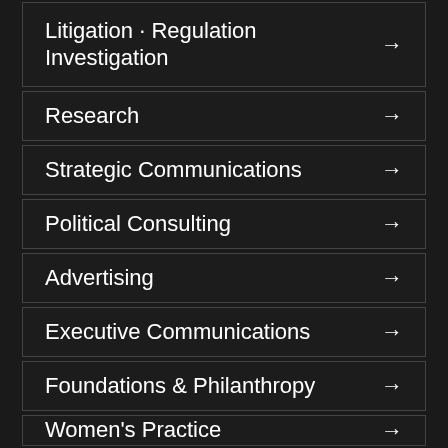Litigation · Regulation Investigation
Research
Strategic Communications
Political Consulting
Advertising
Executive Communications
Foundations & Philanthropy
Women's Practice